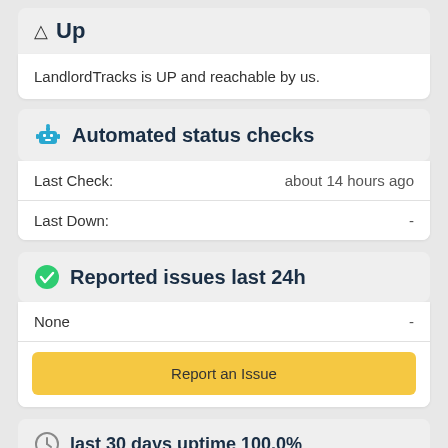Up
LandlordTracks is UP and reachable by us.
Automated status checks
| Last Check: | about 14 hours ago |
| Last Down: | - |
Reported issues last 24h
| None | - |
Report an Issue
last 30 days uptime 100.0%